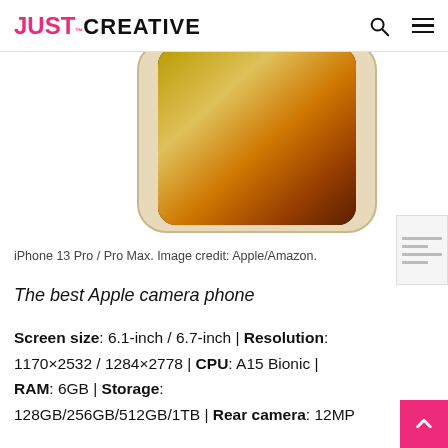JUST™ CREATIVE
[Figure (photo): iPhone 13 Pro / Pro Max phone image showing gold/cream colored device with golden-gradient screen, partially cropped, on white background]
iPhone 13 Pro / Pro Max. Image credit: Apple/Amazon.
The best Apple camera phone
Screen size: 6.1-inch / 6.7-inch | Resolution: 1170×2532 / 1284×2778 | CPU: A15 Bionic | RAM: 6GB | Storage: 128GB/256GB/512GB/1TB | Rear camera: 12MP